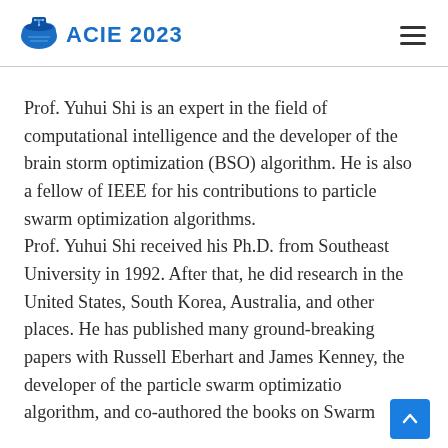ACIE 2023
Prof. Yuhui Shi is an expert in the field of computational intelligence and the developer of the brain storm optimization (BSO) algorithm. He is also a fellow of IEEE for his contributions to particle swarm optimization algorithms. Prof. Yuhui Shi received his Ph.D. from Southeast University in 1992. After that, he did research in the United States, South Korea, Australia, and other places. He has published many ground-breaking papers with Russell Eberhart and James Kenney, the developer of the particle swarm optimization algorithm, and co-authored the books on Swarm